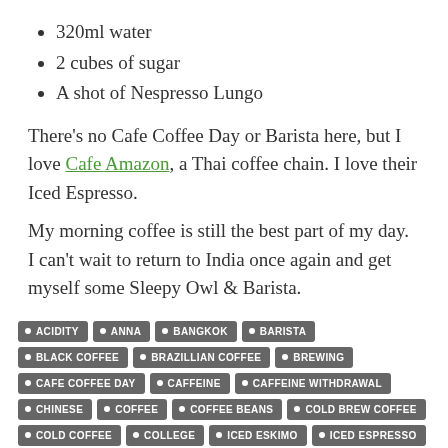320ml water
2 cubes of sugar
A shot of Nespresso Lungo
There's no Cafe Coffee Day or Barista here, but I love Cafe Amazon, a Thai coffee chain. I love their Iced Espresso.
My morning coffee is still the best part of my day. I can't wait to return to India once again and get myself some Sleepy Owl & Barista.
ACIDITY • ANNA • BANGKOK • BARISTA • BLACK COFFEE • BRAZILLIAN COFFEE • BREWING • CAFE COFFEE DAY • CAFFEINE • CAFFEINE WITHDRAWAL • CHINESE • COFFEE • COFFEE BEANS • COLD BREW COFFEE • COLD COFFEE • COLLEGE • ICED ESKIMO • ICED ESPRESSO • NESCAFE INSTANT COFFEE • NESPRESSO • SHANGHAI LUNGO • SLEEPY OWL • SLEEPY OWL COLD BREW